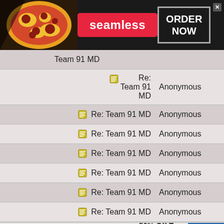[Figure (screenshot): Seamless food delivery banner ad with pizza image, Seamless logo pill, and ORDER NOW button]
| Thread/Subject | Author |
| --- | --- |
| Team 91 MD |  |
| [icon] Re: Team 91 MD | Anonymous |
| [icon] Re: Team 91 MD | Anonymous |
| [icon] Re: Team 91 MD | Anonymous |
| [icon] Re: Team 91 MD | Anonymous |
| [icon] Re: Team 91 MD | Anonymous |
| [icon] Re: Team 91 MD | Anonymous |
| [icon] Re: Team 91 MD | Anonymous |
| [icon] Re: Team 91 MD | Anonymous |
[Figure (screenshot): SmartPak advertisement: 50% Off Two Months of ColiCare, ColiCare Eligible Supplements, CODE: COLICARE10, Shop Now button]